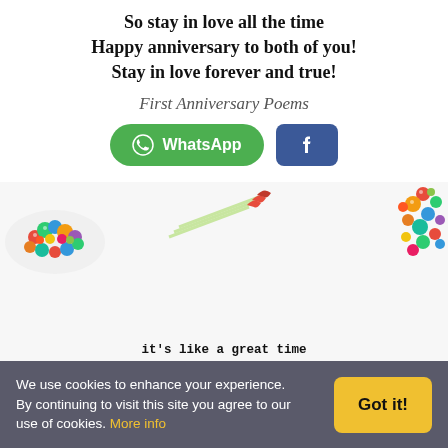So stay in love all the time
Happy anniversary to both of you!
Stay in love forever and true!
First Anniversary Poems
[Figure (other): WhatsApp share button (green rounded) and Facebook share button (blue square)]
[Figure (photo): Colorful candy heart shape on left, decorative arrow/heart sticks in center top, scattered candy pieces on right]
it's like a great time
First anniversary is like a great time
To remember your vows so true
It's the time when you can express
Your love which is all through
So get down on your knees tonight
And express your love all new
Wishing a very happy first anniversary to both!
Stay blessed in life and in love!
[Figure (photo): Row of heart-shaped cookies and candy cane striped hearts at the bottom]
We use cookies to enhance your experience. By continuing to visit this site you agree to our use of cookies. More info